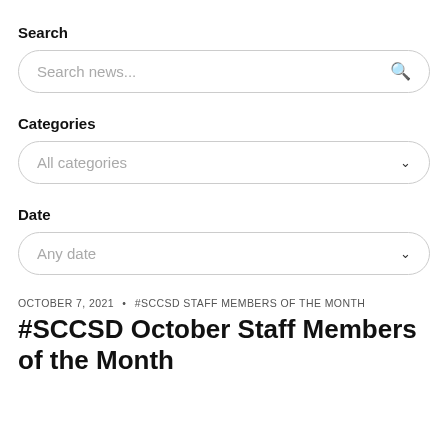Search
Search news...
Categories
All categories
Date
Any date
OCTOBER 7, 2021  •  #SCCSD STAFF MEMBERS OF THE MONTH
#SCCSD October Staff Members of the Month